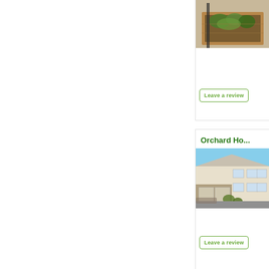[Figure (photo): Photo of a raised garden planter box with plants, brick-edged, outdoor setting]
Leave a review
Orchard Ho...
[Figure (photo): Photo of a two-storey residential care home building with stone facade, white render, parked cars visible]
Leave a review